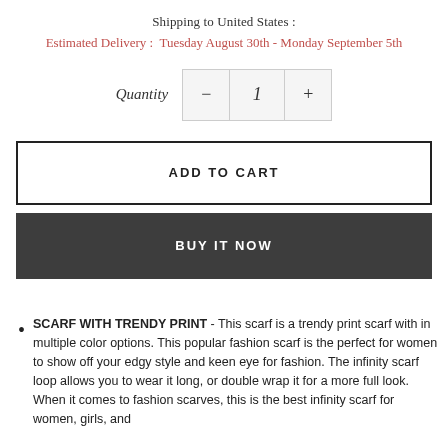Shipping to United States :
Estimated Delivery :  Tuesday August 30th - Monday September 5th
Quantity  −  1  +
ADD TO CART
BUY IT NOW
SCARF WITH TRENDY PRINT - This scarf is a trendy print scarf with in multiple color options. This popular fashion scarf is the perfect for women to show off your edgy style and keen eye for fashion. The infinity scarf loop allows you to wear it long, or double wrap it for a more full look. When it comes to fashion scarves, this is the best infinity scarf for women, girls, and